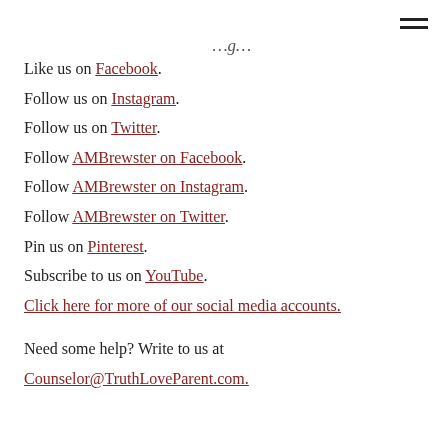…g…
Like us on Facebook.
Follow us on Instagram.
Follow us on Twitter.
Follow AMBrewster on Facebook.
Follow AMBrewster on Instagram.
Follow AMBrewster on Twitter.
Pin us on Pinterest.
Subscribe to us on YouTube.
Click here for more of our social media accounts.
Need some help? Write to us at
Counselor@TruthLoveParent.com.